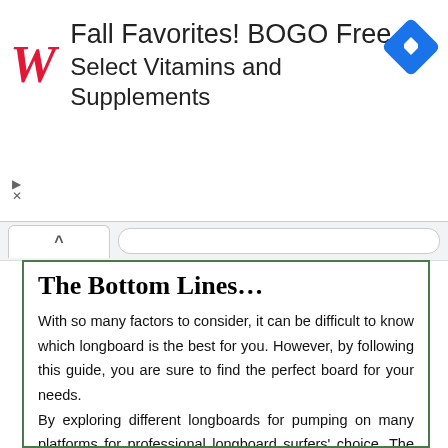[Figure (screenshot): Walgreens advertisement banner: Fall Favorites! BOGO Free Select Vitamins and Supplements, with Walgreens cursive W logo on left and blue navigation diamond icon on right. Small close/ad icon on lower left.]
The Bottom Lines…
With so many factors to consider, it can be difficult to know which longboard is the best for you. However, by following this guide, you are sure to find the perfect board for your needs.
By exploring different longboards for pumping on many platforms for professional longboard surfers' choice. The sector 9 aperture longboard